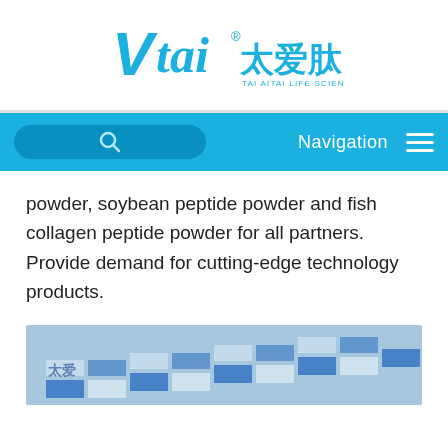[Figure (logo): Tai Ai Tai Life Science logo with stylized TAI text in blue and Chinese characters 太爱肽]
[Figure (screenshot): Navigation bar with search field, Navigation label, and hamburger menu on blue background]
powder, soybean peptide powder and fish collagen peptide powder for all partners. Provide demand for cutting-edge technology products.
[Figure (photo): Photo of an exhibition or showroom with blue and white decorative elements arranged in a staircase pattern]